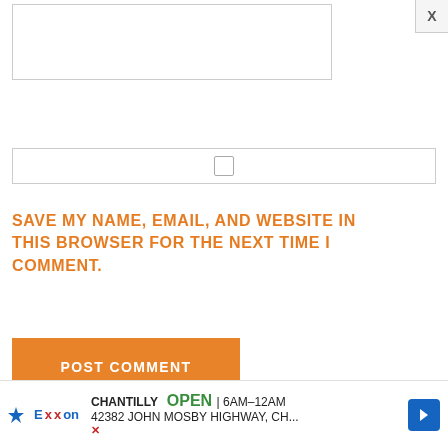[Figure (screenshot): Text input box at top of page, partially visible, white background with gray border]
[Figure (screenshot): Checkbox row with a small square checkbox icon centered in a bordered row]
SAVE MY NAME, EMAIL, AND WEBSITE IN THIS BROWSER FOR THE NEXT TIME I COMMENT.
[Figure (screenshot): Orange POST COMMENT button]
This site uses Akismet to reduce spam. Learn how your comment data is processed.
[Figure (screenshot): Exxon advertisement banner at bottom: CHANTILLY OPEN 6AM-12AM, 42382 JOHN MOSBY HIGHWAY, CH... with navigation arrow icon and X close button]